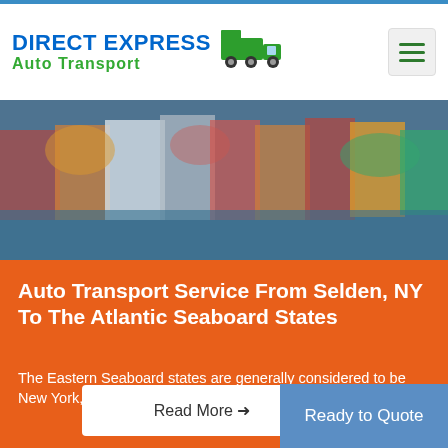DIRECT EXPRESS Auto Transport
[Figure (photo): Blurred panoramic photo of colorful waterfront buildings and autumn foliage reflecting in water]
Auto Transport Service From Selden, NY To The Atlantic Seaboard States
The Eastern Seaboard states are generally considered to be New York, New Jersey, Delaware, Washington D.C., Maryland...
Ready to Quote
Read More →